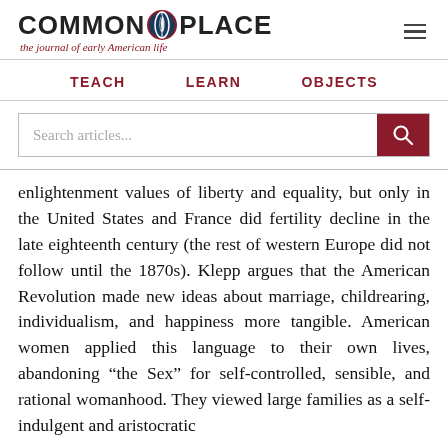[Figure (logo): Common Place logo with quill pen icon and tagline 'the journal of early American life']
TEACH   LEARN   OBJECTS
enlightenment values of liberty and equality, but only in the United States and France did fertility decline in the late eighteenth century (the rest of western Europe did not follow until the 1870s). Klepp argues that the American Revolution made new ideas about marriage, childrearing, individualism, and happiness more tangible. American women applied this language to their own lives, abandoning “the Sex” for self-controlled, sensible, and rational womanhood. They viewed large families as a self-indulgent and aristocratic